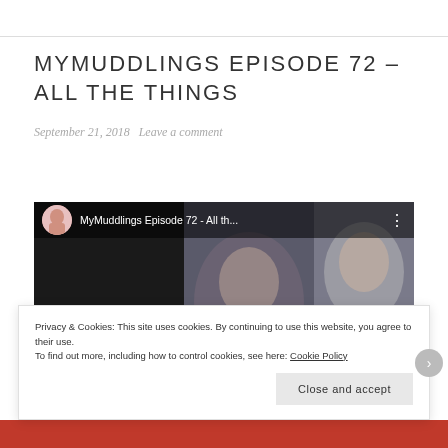MYMUDDLINGS EPISODE 72 – ALL THE THINGS
September 21, 2018   Leave a comment
[Figure (screenshot): Video thumbnail showing MyMuddlings Episode 72 - All th... with avatar, title bar overlay, and handwritten 'Episode 72' text over a dark photo background]
Privacy & Cookies: This site uses cookies. By continuing to use this website, you agree to their use.
To find out more, including how to control cookies, see here: Cookie Policy